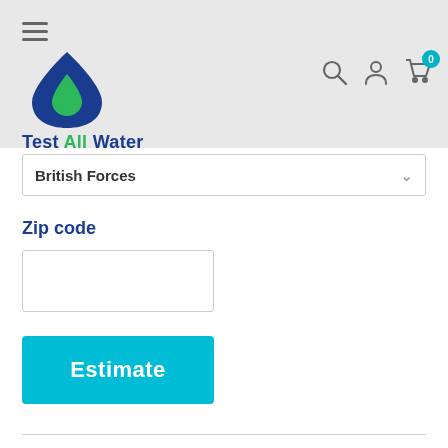[Figure (logo): Test All Water logo — blue water drop with green inner drop, text 'Test All Water' in navy and green]
British Forces
Zip code
Estimate
Refund Policy